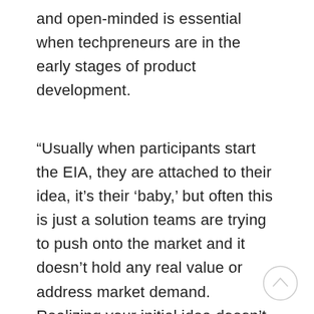and open-minded is essential when techpreneurs are in the early stages of product development.
“Usually when participants start the EIA, they are attached to their idea, it’s their ‘baby,’ but often this is just a solution teams are trying to push onto the market and it doesn’t hold any real value or address market demand. Realizing your initial idea doesn’t solve a significant problem is a huge learning curve, but the program gives teams an opportunity to play with startup ideas and